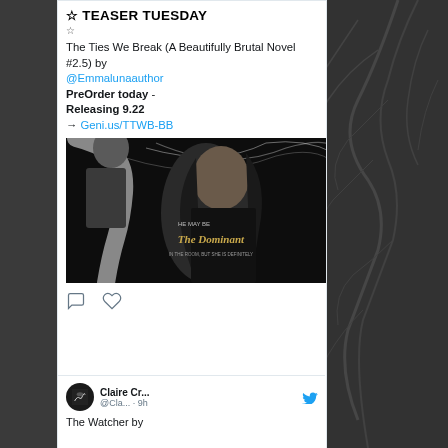☆ TEASER TUESDAY
☆
The Ties We Break (A Beautifully Brutal Novel #2.5) by @Emmalunaauthor
PreOrder today - Releasing 9.22
→ Geni.us/TTWB-BB
[Figure (photo): Book cover for 'The Dominant' showing a couple (man and woman) against a dark background with text 'HE MAY BE The Dominant IN THE ROOM, BUT SHE IS DEFINITELY']
Claire Cr... @Cla... · 9h
The Watcher by